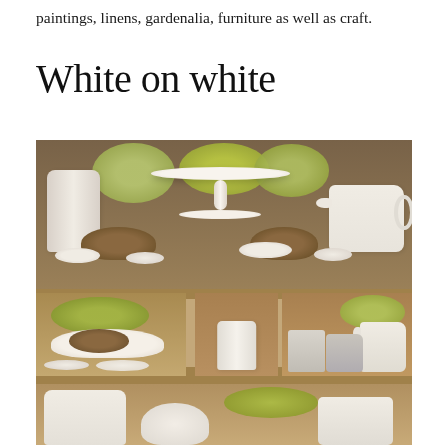paintings, linens, gardenalia, furniture as well as craft.
White on white
[Figure (photo): A wooden display shelf unit filled with white ceramic items including a cake stand, vases, teapot, pitcher, jar, and canister, along with artisan bread loaves, seashells, and green hydrangea flowers arranged across multiple shelves.]